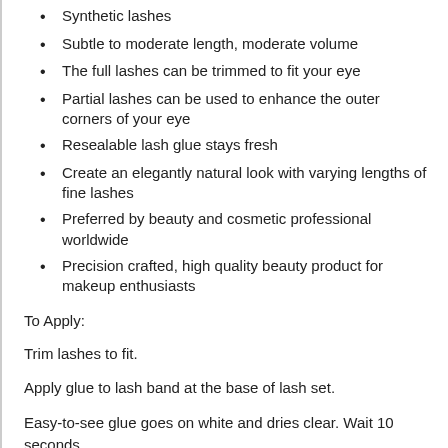Synthetic lashes
Subtle to moderate length, moderate volume
The full lashes can be trimmed to fit your eye
Partial lashes can be used to enhance the outer corners of your eye
Resealable lash glue stays fresh
Create an elegantly natural look with varying lengths of fine lashes
Preferred by beauty and cosmetic professional worldwide
Precision crafted, high quality beauty product for makeup enthusiasts
To Apply:
Trim lashes to fit.
Apply glue to lash band at the base of lash set.
Easy-to-see glue goes on white and dries clear. Wait 10 seconds.
Position lashes just above natural lash using the Japonesque Lash Placement Tool.
Smooth base and hold in position until set.